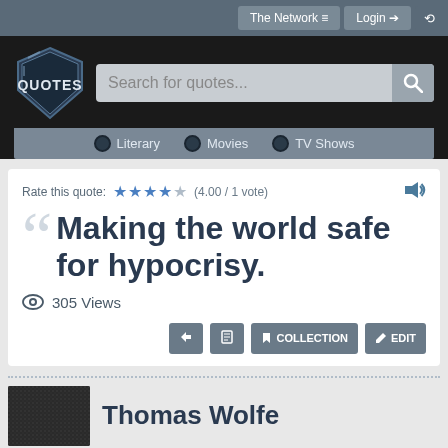[Figure (screenshot): Quotes website header with logo, search bar, and navigation. Shows a quote: 'Making the world safe for hypocrisy.' rated 4.00/1 vote, 305 Views, with action buttons and author Thomas Wolfe.]
The Network ≡
Login →
Search for quotes...
Literary   Movies   TV Shows
Rate this quote:  ★★★★☆  (4.00 / 1 vote)
Making the world safe for hypocrisy.
305 Views
COLLECTION   EDIT
Thomas Wolfe